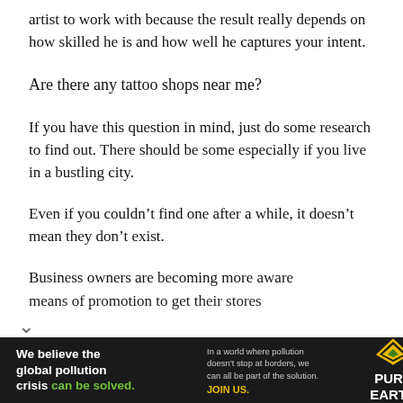artist to work with because the result really depends on how skilled he is and how well he captures your intent.
Are there any tattoo shops near me?
If you have this question in mind, just do some research to find out. There should be some especially if you live in a bustling city.
Even if you couldn’t find one after a while, it doesn’t mean they don’t exist.
Business owners are becoming more aware means of promotion to get their stores
[Figure (infographic): Pure Earth advertisement banner: dark background with text 'We believe the global pollution crisis can be solved.' and 'In a world where pollution doesn’t stop at borders, we can all be part of the solution. JOIN US.' with Pure Earth logo (diamond/chevron shape in gold/yellow and green).]